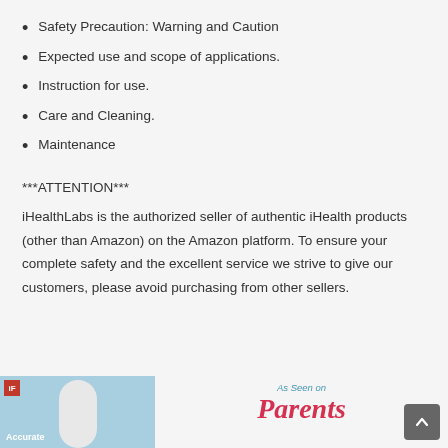Safety Precaution: Warning and Caution
Expected use and scope of applications.
Instruction for use.
Care and Cleaning.
Maintenance
***ATTENTION***
iHealthLabs is the authorized seller of authentic iHealth products (other than Amazon) on the Amazon platform. To ensure your complete safety and the excellent service we strive to give our customers, please avoid purchasing from other sellers.
[Figure (photo): Product image on light blue background with iF design badge and 'Accurate' label at bottom left. Beside it, text reading 'As Seen on' and 'Parents' in pink italic serif font.]